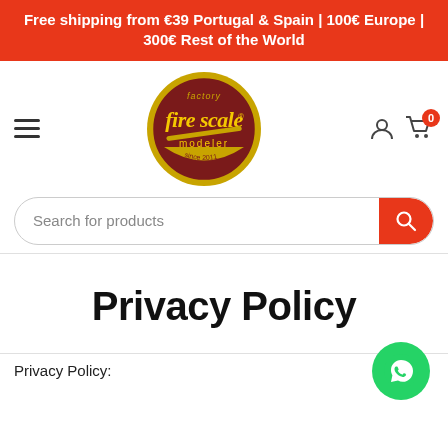Free shipping from €39 Portugal & Spain | 100€ Europe | 300€ Rest of the World
[Figure (logo): Fire Scale Modeler factory logo — circular badge with maroon/dark red background, yellow text 'fire scale' in script, 'modeler' below, 'factory' at top, gold border]
Privacy Policy
Privacy Policy: